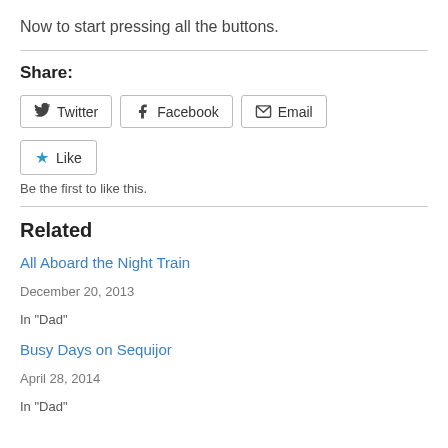Now to start pressing all the buttons.
Share:
Twitter Facebook Email (share buttons)
Like
Be the first to like this.
Related
All Aboard the Night Train
December 20, 2013
In "Dad"
Busy Days on Sequijor
April 28, 2014
In "Dad"